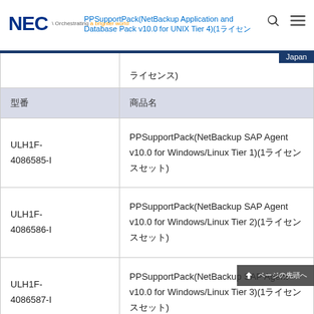NEC Orchestrating a brighter world — PPSupportPack(NetBackup Application and Database Pack v10.0 for UNIX Tier 4)(1ライセンス) — Japan
| 型番 | 商品名 |
| --- | --- |
|  | ライセンス) |
| ULH1F-4086585-I | PPSupportPack(NetBackup SAP Agent v10.0 for Windows/Linux Tier 1)(1ライセンスセット) |
| ULH1F-4086586-I | PPSupportPack(NetBackup SAP Agent v10.0 for Windows/Linux Tier 2)(1ライセンスセット) |
| ULH1F-4086587-I | PPSupportPack(NetBackup SAP Agent v10.0 for Windows/Linux Tier 3)(1ライセンスセット) |
| ULH1F-4086588-I | PPSupportPack(NetBackup SAP Agent v10.0 for Windows/Linux Tier 4)(1ライセンスセット) |
| ULH1F-... | PPSupportPack(NetBackup SAP Agent ... |